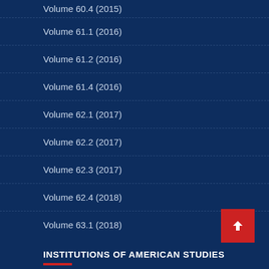Volume 60.4 (2015)
Volume 61.1 (2016)
Volume 61.2 (2016)
Volume 61.4 (2016)
Volume 62.1 (2017)
Volume 62.2 (2017)
Volume 62.3 (2017)
Volume 62.4 (2018)
Volume 63.1 (2018)
INSTITUTIONS OF AMERICAN STUDIES
American Studies Association
Amerika-Institut der LMU München
American Studies at Leipzig